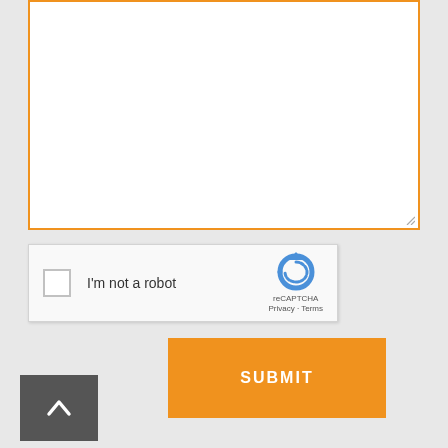[Figure (screenshot): Empty text area input box with orange border and resize handle in bottom-right corner]
[Figure (screenshot): Google reCAPTCHA widget with checkbox labeled 'I'm not a robot' and reCAPTCHA logo with Privacy and Terms links]
SUBMIT
[Figure (other): Dark gray back-to-top button with upward chevron arrow icon]